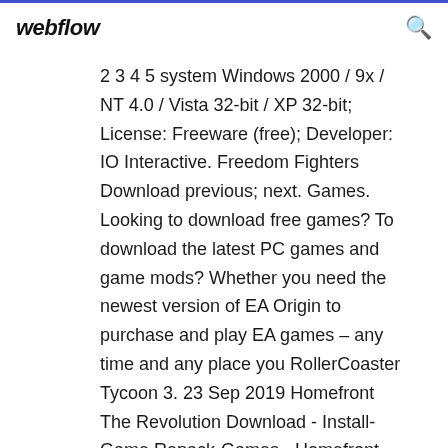webflow
2 3 4 5 system Windows 2000 / 9x / NT 4.0 / Vista 32-bit / XP 32-bit; License: Freeware (free); Developer: IO Interactive. Freedom Fighters Download previous; next. Games. Looking to download free games? To download the latest PC games and game mods? Whether you need the newest version of EA Origin to purchase and play EA games – any time and any place you RollerCoaster Tycoon 3. 23 Sep 2019 Homefront The Revolution Download - Install-Game Repack-Games - Homefront The Revolution Freedom Fighter Bundle v1.078.1055 All  2 Jul 2014 Playing next. 3:12. %KcC% freedom fighters 2 game free download full